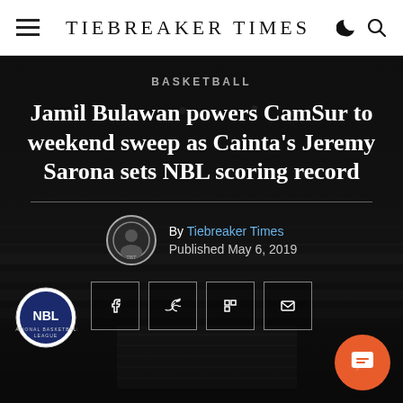TIEBREAKER TIMES
BASKETBALL
Jamil Bulawan powers CamSur to weekend sweep as Cainta’s Jeremy Sarona sets NBL scoring record
By Tiebreaker Times
Published May 6, 2019
[Figure (photo): Arena/gymnasium background with crowd, NBL logo badge at bottom left, social sharing buttons (Facebook, Twitter, Flipboard, Email), and a chat button at bottom right]